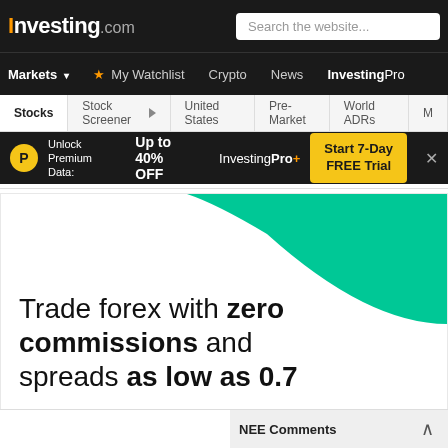[Figure (screenshot): Investing.com website header with logo, search bar, navigation menu including Markets, My Watchlist, Crypto, News, InvestingPro, stock tabs including Stocks, Stock Screener, United States, Pre-Market, World ADRs, a promotional banner offering Up to 40% OFF with InvestingPro+ and Start 7-Day FREE Trial button, an advertisement for forex trading with zero commissions and spreads as low as 0.7, and a NEE Comments section bar.]